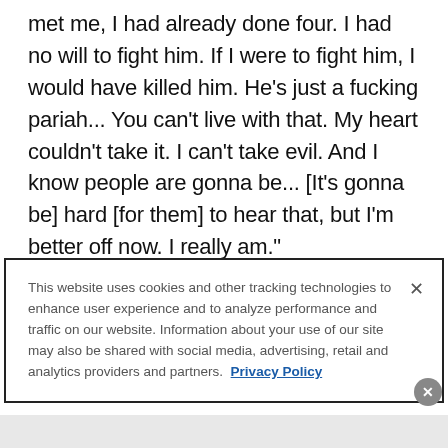met me, I had already done four. I had no will to fight him. If I were to fight him, I would have killed him. He's just a fucking pariah... You can't live with that. My heart couldn't take it. I can't take evil. And I know people are gonna be... [It's gonna be] hard [for them] to hear that, but I'm better off now. I really am."
This website uses cookies and other tracking technologies to enhance user experience and to analyze performance and traffic on our website. Information about your use of our site may also be shared with social media, advertising, retail and analytics providers and partners. Privacy Policy